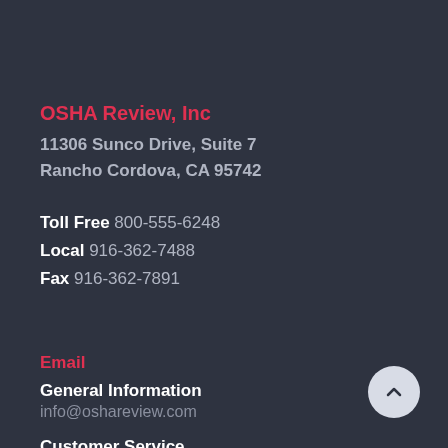OSHA Review, Inc
11306 Sunco Drive, Suite 7
Rancho Cordova, CA 95742
Toll Free 800-555-6248
Local 916-362-7488
Fax 916-362-7891
Email
General Information
info@oshareview.com
Customer Service
cs@oshareview.com